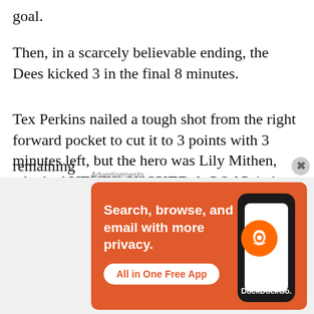goal.
Then, in a scarcely believable ending, the Dees kicked 3 in the final 8 minutes.
Tex Perkins nailed a tough shot from the right forward pocket to cut it to 3 points with 3 minutes left, but the hero was Lily Mithen, who had NEVER KICKED A GOAL in her AFLW career, only to boot 2 goals for the game, including the winner with all of 20 seconds remaining
[Figure (screenshot): DuckDuckGo advertisement banner showing 'Search, browse, and email with more privacy. All in One Free App' with DuckDuckGo logo on orange background with phone mockup]